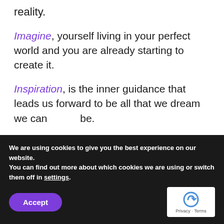reality.
Imagine, yourself living in your perfect world and you are already starting to create it.
Inspiration, is the inner guidance that leads us forward to be all that we dream we can be.
[Figure (photo): Two decorative crocheted or embroidered cards side by side. Left card labeled 'Hope' in cursive script, right card labeled 'Visionary' in cursive script. Both feature ornate blue/gray tile patterns.]
We are using cookies to give you the best experience on our website.
You can find out more about which cookies we are using or switch them off in settings.